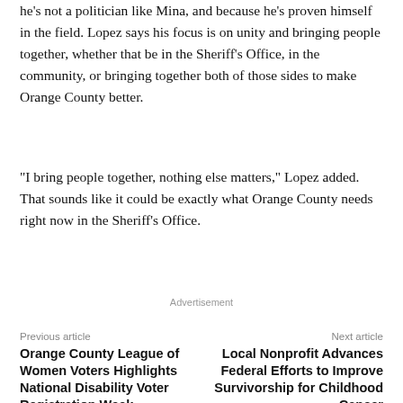retired he was urged him to run for office, in part because he's not a politician like Mina, and because he's proven himself in the field. Lopez says his focus is on unity and bringing people together, whether that be in the Sheriff's Office, in the community, or bringing together both of those sides to make Orange County better.
“I bring people together, nothing else matters,” Lopez added. That sounds like it could be exactly what Orange County needs right now in the Sheriff’s Office.
Advertisement
Previous article
Orange County League of Women Voters Highlights National Disability Voter Registration Week
Next article
Local Nonprofit Advances Federal Efforts to Improve Survivorship for Childhood Cancer